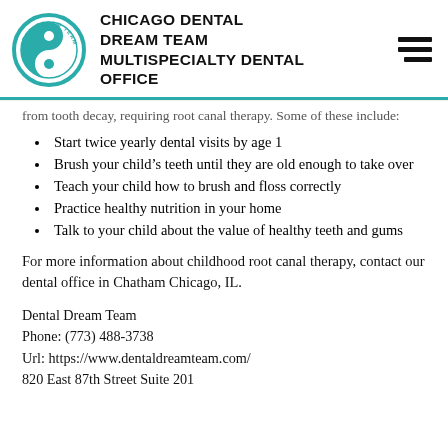CHICAGO DENTAL DREAM TEAM MULTISPECIALTY DENTAL OFFICE
from tooth decay, requiring root canal therapy. Some of these include:
Start twice yearly dental visits by age 1
Brush your child’s teeth until they are old enough to take over
Teach your child how to brush and floss correctly
Practice healthy nutrition in your home
Talk to your child about the value of healthy teeth and gums
For more information about childhood root canal therapy, contact our dental office in Chatham Chicago, IL.
Dental Dream Team
Phone: (773) 488-3738
Url: https://www.dentaldreamteam.com/
820 East 87th Street Suite 201